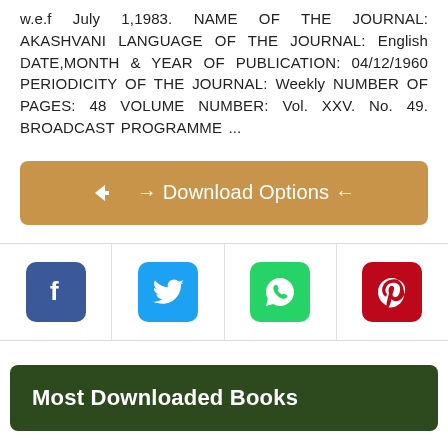w.e.f July 1,1983. NAME OF THE JOURNAL: AKASHVANI LANGUAGE OF THE JOURNAL: English DATE,MONTH & YEAR OF PUBLICATION: 04/12/1960 PERIODICITY OF THE JOURNAL: Weekly NUMBER OF PAGES: 48 VOLUME NUMBER: Vol. XXV. No. 49. BROADCAST PROGRAMME ...
[Figure (other): A tan/gold colored download button with arrows pointing inward and outward, labeled 'Download Options']
[Figure (other): A row of four social media sharing icons: Facebook (blue), Twitter (light blue), WhatsApp (green), Pinterest (red)]
Most Downloaded Books